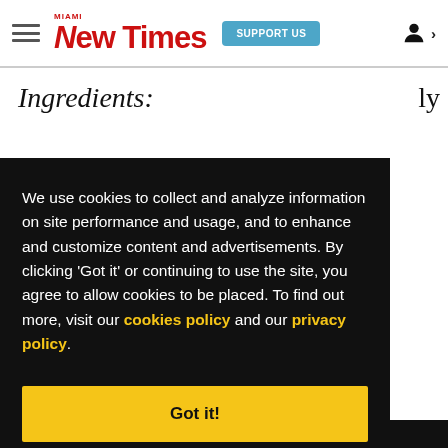Miami New Times — SUPPORT US — [user icon]
Ingredients:
We use cookies to collect and analyze information on site performance and usage, and to enhance and customize content and advertisements. By clicking 'Got it' or continuing to use the site, you agree to allow cookies to be placed. To find out more, visit our cookies policy and our privacy policy.
Got it!